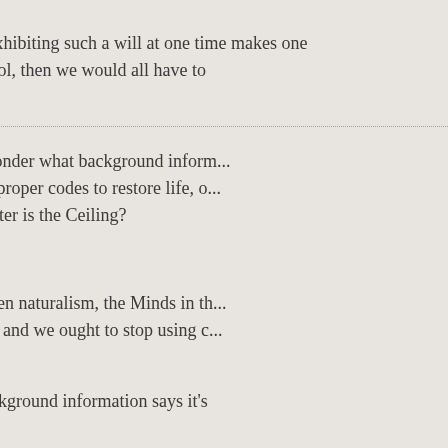If exhibiting such a will at one time makes one a fool, then we would all have to
I wonder what background information contains the proper codes to restore life, or whether Dark Matter is the Ceiling?
Given naturalism, the Minds in the... life, and we ought to stop using c...
Background information says it's
It's odd that the naturalist would d... would be so unscientific, so unsc... number we want them to sum to guess that's good for naturalism.
Well, not really. Science is movin